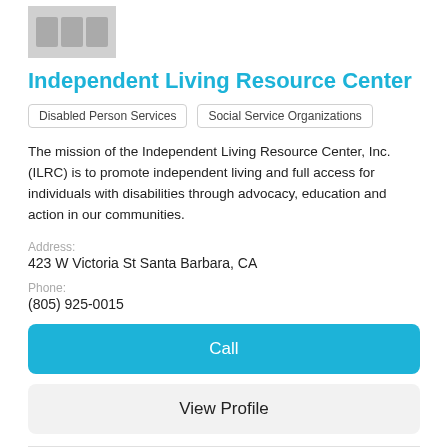[Figure (logo): Grey placeholder logo image with three rectangular blocks]
Independent Living Resource Center
Disabled Person Services
Social Service Organizations
The mission of the Independent Living Resource Center, Inc. (ILRC) is to promote independent living and full access for individuals with disabilities through advocacy, education and action in our communities.
Address:
423 W Victoria St Santa Barbara, CA
Phone:
(805) 925-0015
Call
View Profile
[Figure (logo): BrightStar Care logo with red star and tagline 'a higher standard of home care']